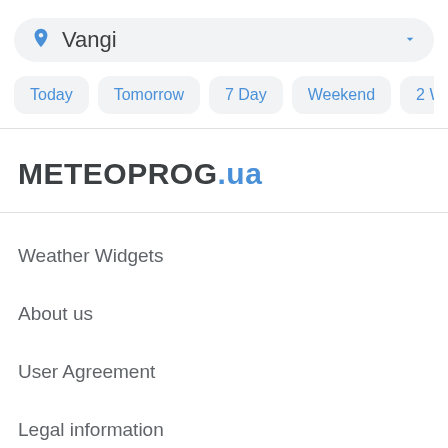Vangi
Today
Tomorrow
7 Day
Weekend
2 Weeks
M
METEOPROG.ua
Weather Widgets
About us
User Agreement
Legal information